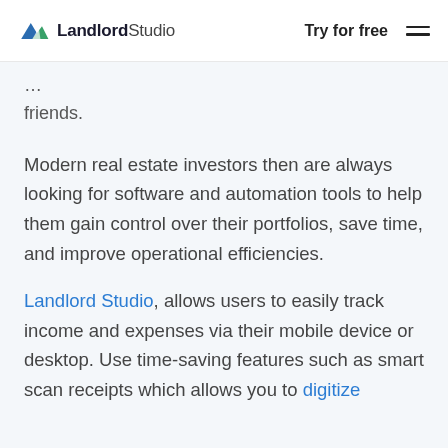LandlordStudio | Try for free
friends.
Modern real estate investors then are always looking for software and automation tools to help them gain control over their portfolios, save time, and improve operational efficiencies.
Landlord Studio, allows users to easily track income and expenses via their mobile device or desktop. Use time-saving features such as smart scan receipts which allows you to digitize